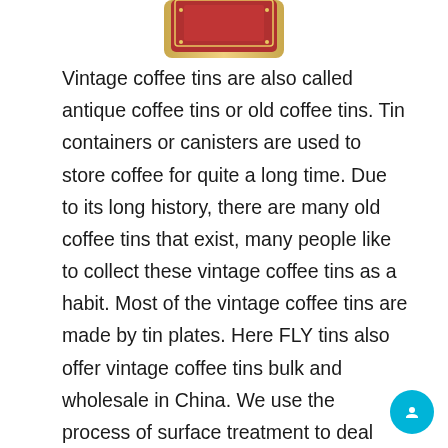[Figure (illustration): Partial view of a vintage/antique coffee tin with red and gold decorative design, cropped at the top of the page]
Vintage coffee tins are also called antique coffee tins or old coffee tins. Tin containers or canisters are used to store coffee for quite a long time. Due to its long history, there are many old coffee tins that exist, many people like to collect these vintage coffee tins as a habit. Most of the vintage coffee tins are made by tin plates. Here FLY tins also offer vintage coffee tins bulk and wholesale in China. We use the process of surface treatment to deal with the tins which make the tins look old.